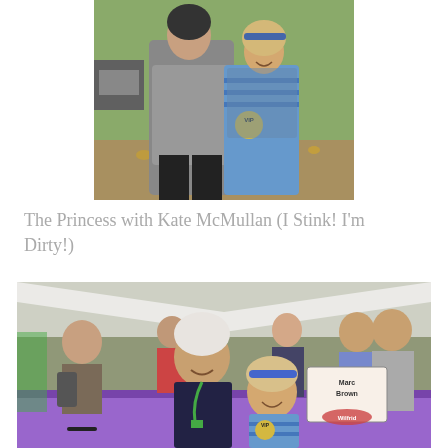[Figure (photo): A young girl wearing a VIP badge and blue striped shirt poses with an adult woman in a gray jacket at an outdoor event with grass and fallen leaves in the background.]
The Princess with Kate McMullan (I Stink! I'm Dirty!)
[Figure (photo): An older man with white hair wearing a dark shirt and green lanyard leans over a table next to a young girl with a blue headband and striped shirt. A sign reading 'Marc Brown' is visible on the table along with a purple tablecloth. People mill about under a white tent in the background.]